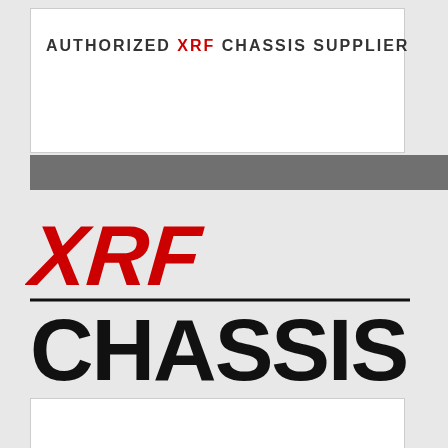AUTHORIZED XRF CHASSIS SUPPLIER
[Figure (logo): XRF CHASSIS logo with red italic XRF text above large black CHASSIS text]
Rec